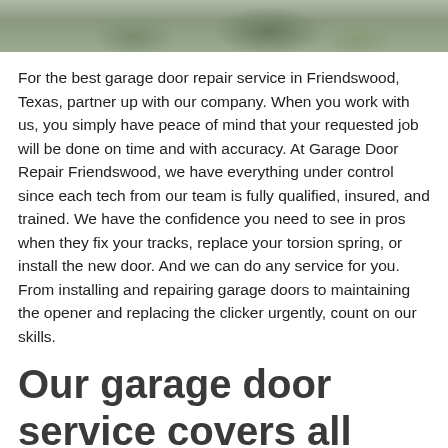[Figure (photo): Partial view of a rocky landscape with stones and vegetation, cropped at top]
For the best garage door repair service in Friendswood, Texas, partner up with our company. When you work with us, you simply have peace of mind that your requested job will be done on time and with accuracy. At Garage Door Repair Friendswood, we have everything under control since each tech from our team is fully qualified, insured, and trained. We have the confidence you need to see in pros when they fix your tracks, replace your torsion spring, or install the new door. And we can do any service for you. From installing and repairing garage doors to maintaining the opener and replacing the clicker urgently, count on our skills.
Our garage door service covers all needs